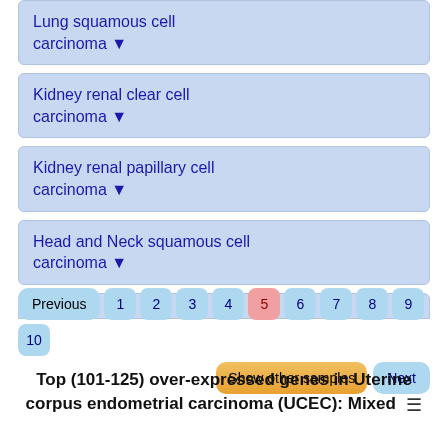Lung squamous cell carcinoma ▼
Kidney renal clear cell carcinoma ▼
Kidney renal papillary cell carcinoma ▼
Head and Neck squamous cell carcinoma ▼
Previous 1 2 3 4 5 6 7 8 9 10 Show other samples Next
Top (101-125) over-expressed genes in Uterine corpus endometrial carcinoma (UCEC): Mixed